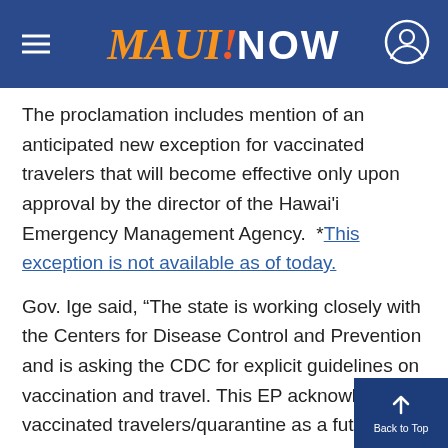MAUI NOW
The proclamation includes mention of an anticipated new exception for vaccinated travelers that will become effective only upon approval by the director of the Hawai'i Emergency Management Agency.  *This exception is not available as of today.
Gov. Ige said, “The state is working closely with the Centers for Disease Control and Prevention and is asking the CDC for explicit guidelines on vaccination and travel. This EP acknowledges vaccinated travelers/quarantine as a future exception, but the state will wait for specific guidance from the CDC before implementing a quarantine exception for vaccinated travelers.”